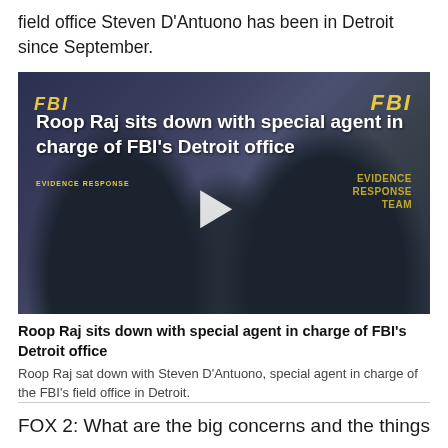field office Steven D'Antuono has been in Detroit since September.
[Figure (photo): Video thumbnail showing two people wearing dark navy FBI Evidence Response Team shirts, with a play button overlay. Text overlay reads: 'Roop Raj sits down with special agent in charge of FBI's Detroit office']
Roop Raj sits down with special agent in charge of FBI's Detroit office
Roop Raj sat down with Steven D'Antuono, special agent in charge of the FBI's field office in Detroit.
FOX 2: What are the big concerns and the things on